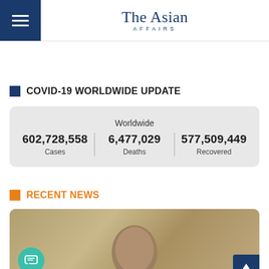The Asian Affairs
COVID-19 WORLDWIDE UPDATE
| Cases | Deaths | Recovered |
| --- | --- | --- |
| 602,728,558 | 6,477,029 | 577,509,449 |
RECENT NEWS
[Figure (photo): Photo of a person, partially visible, used as thumbnail for a recent news article]